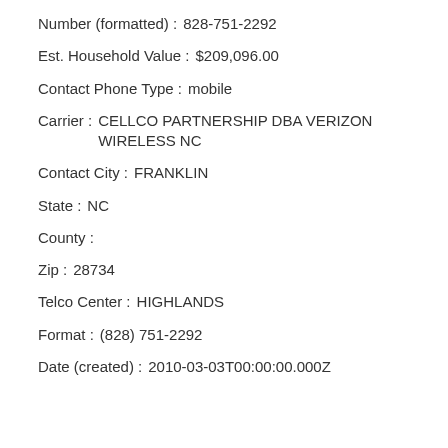Number (formatted): 828-751-2292
Est. Household Value: $209,096.00
Contact Phone Type: mobile
Carrier: CELLCO PARTNERSHIP DBA VERIZON WIRELESS NC
Contact City: FRANKLIN
State: NC
County:
Zip: 28734
Telco Center: HIGHLANDS
Format: (828) 751-2292
Date (created): 2010-03-03T00:00:00.000Z